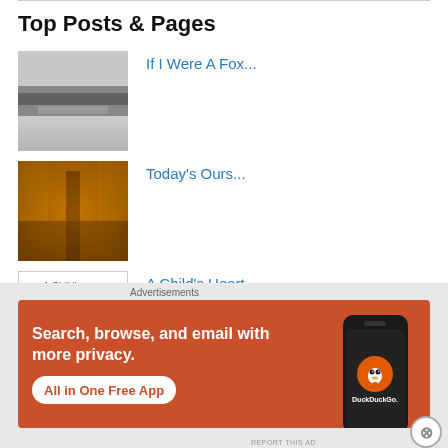Top Posts & Pages
[Figure (photo): Blurry black and white winter landscape photo]
If I Were A Fox...
[Figure (photo): Blurry orange/golden forest with a path or railway]
Today's Ours...
[Figure (photo): Broken image placeholder for A Child's Heart.]
A Child's Heart.
A Child's Heart.
Advertisements
[Figure (screenshot): DuckDuckGo advertisement banner: Search, browse, and email with more privacy. All in One Free App. Shows a phone with DuckDuckGo logo.]